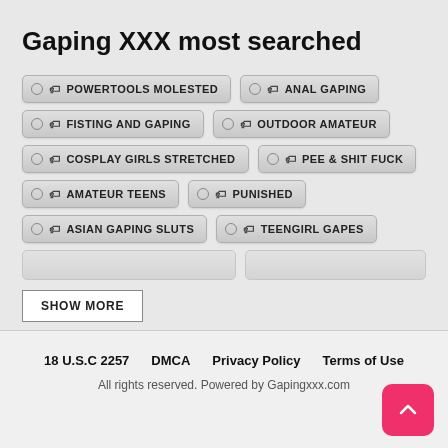Gaping XXX most searched
POWERTOOLS MOLESTED
ANAL GAPING
FISTING AND GAPING
OUTDOOR AMATEUR
COSPLAY GIRLS STRETCHED
PEE & SHIT FUCK
AMATEUR TEENS
PUNISHED
ASIAN GAPING SLUTS
TEENGIRL GAPES
SHOW MORE
18 U.S.C 2257   DMCA   Privacy Policy   Terms of Use
All rights reserved. Powered by Gapingxxx.com